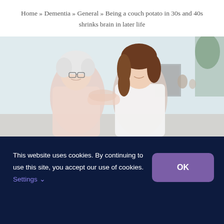Home » Dementia » General » Being a couch potato in 30s and 40s shrinks brain in later life
[Figure (photo): An elderly woman with white hair and glasses being assisted by a younger woman with brown hair, both smiling, in a bright indoor setting with white brick walls]
This website uses cookies. By continuing to use this site, you accept our use of cookies. Settings ∨
OK